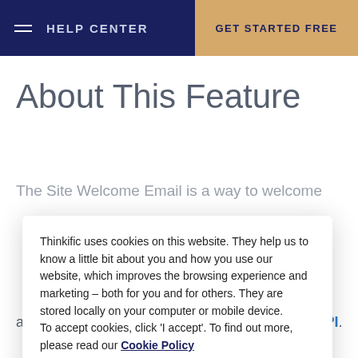HELP CENTER | GET STARTED FREE
About This Feature
The Site Welcome Email is a way to welcome
Thinkific uses cookies on this website. They help us to know a little bit about you and how you use our website, which improves the browsing experience and marketing – both for you and for others. They are stored locally on your computer or mobile device.
To accept cookies, click 'I accept'. To find out more, please read our Cookie Policy
I ACCEPT
are manually created, or created through our API.